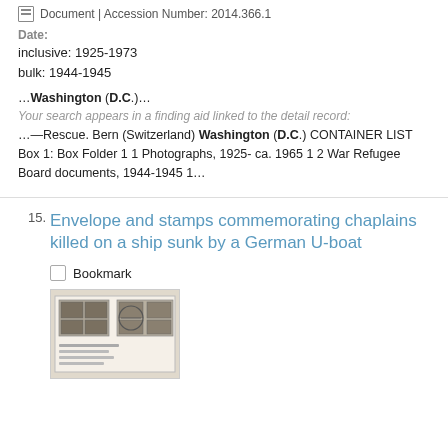Document | Accession Number: 2014.366.1
Date:
inclusive: 1925-1973
bulk: 1944-1945
…Washington (D.C.)…
Your search appears in a finding aid linked to the detail record:
…—Rescue. Bern (Switzerland) Washington (D.C.) CONTAINER LIST Box 1: Box Folder 1 1 Photographs, 1925- ca. 1965 1 2 War Refugee Board documents, 1944-1945 1…
15. Envelope and stamps commemorating chaplains killed on a ship sunk by a German U-boat
Bookmark
[Figure (photo): Photograph of an envelope with stamps commemorating chaplains killed on a ship sunk by a German U-boat]